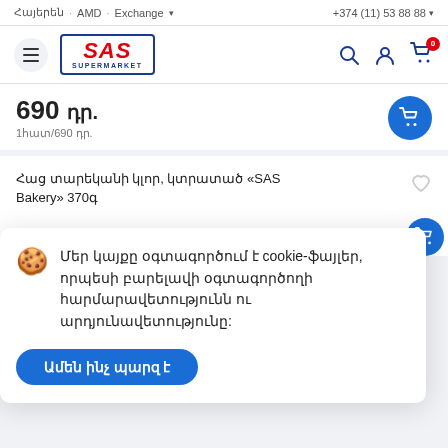Հայերեն · AMD · Exchange  · +374 (11) 53 88 88
[Figure (logo): SAS Supermarket logo in blue border with red italic text]
690 դր.
1հատ/690 դր.
Հաց տարեկանի կլոր, կտրատած «SAS Bakery» 370գ
350
Մեր կայքը օգտագործում է cookie-ֆայլեր, որպեսի բարելավի օգտագործողի հարմարավետությունն ու արդյունավետությունը:
Ամեն ինչ պարզ է